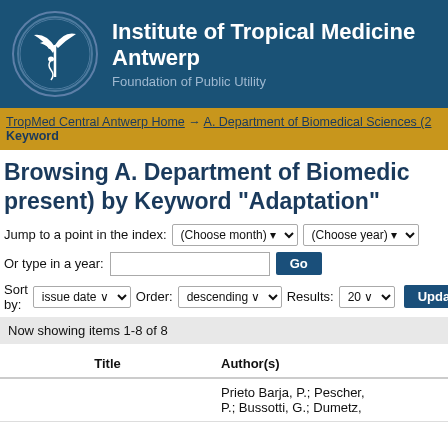Institute of Tropical Medicine Antwerp
Foundation of Public Utility
TropMed Central Antwerp Home → A. Department of Biomedical Sciences (2... Keyword
Browsing A. Department of Biomedical Sciences (present) by Keyword "Adaptation"
Jump to a point in the index: (Choose month) (Choose year)
Or type in a year:  [text input]  Go
Sort by: issue date  Order: descending  Results: 20  Update
Now showing items 1-8 of 8
| Title | Author(s) |
| --- | --- |
|  | Prieto Barja, P.; Pescher, P.; Bussotti, G.; Dumetz, |